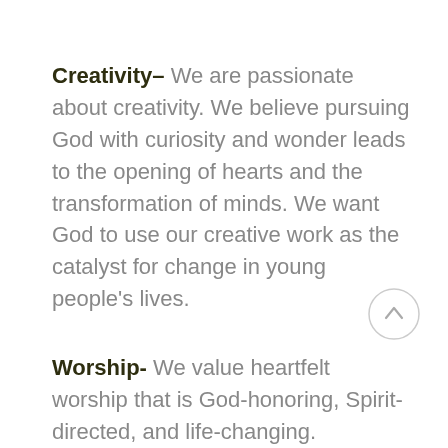Creativity– We are passionate about creativity. We believe pursuing God with curiosity and wonder leads to the opening of hearts and the transformation of minds. We want God to use our creative work as the catalyst for change in young people's lives.
Worship- We value heartfelt worship that is God-honoring, Spirit-directed, and life-changing.